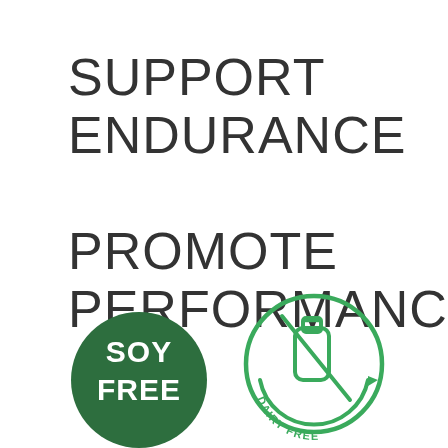SUPPORT ENDURANCE
PROMOTE PERFORMANCE
[Figure (logo): Dark green circular badge with white bold text reading SOY FREE]
[Figure (logo): Light green circular badge outline with a milk bottle icon crossed out and text reading DAIRY FREE around the bottom arc]